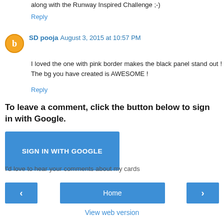along with the Runway Inspired Challenge ;-)
Reply
SD pooja  August 3, 2015 at 10:57 PM
I loved the one with pink border makes the black panel stand out ! The bg you have created is AWESOME !
Reply
To leave a comment, click the button below to sign in with Google.
[Figure (other): SIGN IN WITH GOOGLE button]
I'd love to hear your comments about my cards
[Figure (other): Navigation bar with back arrow, Home button, and forward arrow, plus View web version link]